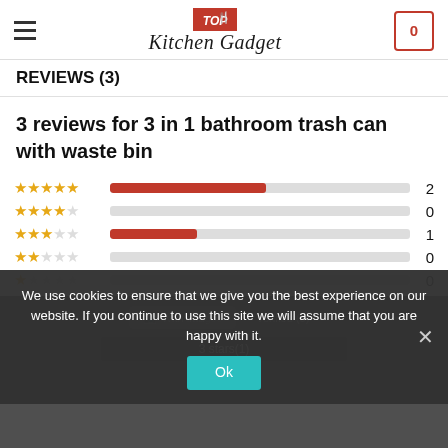[Figure (logo): Top Kitchen Gadget logo with orange/red background, fork and spoon icon, and stylized text]
REVIEWS (3)
3 reviews for 3 in 1 bathroom trash can with waste bin
[Figure (infographic): Star rating breakdown: 5 stars=2, 4 stars=0, 3 stars=1, 2 stars=0, 1 star=0, shown as horizontal bar chart with orange bars]
We use cookies to ensure that we give you the best experience on our website. If you continue to use this site we will assume that you are happy with it.
Ok